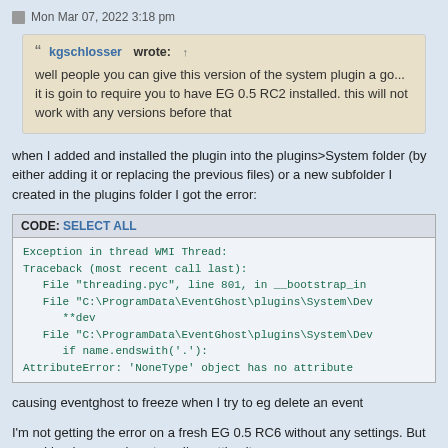Mon Mar 07, 2022 3:18 pm
kgschlosser wrote: ↑
well people you can give this version of the system plugin a go... it is goin to require you to have EG 0.5 RC2 installed. this will not work with any versions before that
when I added and installed the plugin into the plugins>System folder (by either adding it or replacing the previous files) or a new subfolder I created in the plugins folder I got the error:
CODE: SELECT ALL
Exception in thread WMI Thread:
Traceback (most recent call last):
  File "threading.pyc", line 801, in __bootstrap_in
  File "C:\ProgramData\EventGhost\plugins\System\Dev
    **dev
  File "C:\ProgramData\EventGhost\plugins\System\Dev
    if name.endswith('.'):
AttributeError: 'NoneType' object has no attribute
causing eventghost to freeze when I try to eg delete an event
I'm not getting the error on a fresh EG 0.5 RC6 without any settings. But once I load my previous tree, I'm getting it.